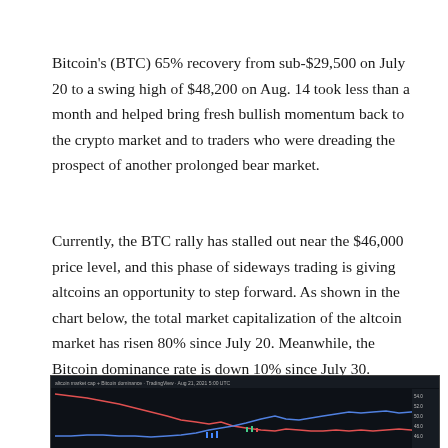Bitcoin's (BTC) 65% recovery from sub-$29,500 on July 20 to a swing high of $48,200 on Aug. 14 took less than a month and helped bring fresh bullish momentum back to the crypto market and to traders who were dreading the prospect of another prolonged bear market.
Currently, the BTC rally has stalled out near the $46,000 price level, and this phase of sideways trading is giving altcoins an opportunity to step forward. As shown in the chart below, the total market capitalization of the altcoin market has risen 80% since July 20. Meanwhile, the Bitcoin dominance rate is down 10% since July 30.
[Figure (continuous-plot): A TradingView chart showing altcoin market capitalization and Bitcoin dominance. A red descending line and a blue line are visible, along with candlestick price action near the bottom of the chart. The chart has a dark background with white axis labels on the right side.]